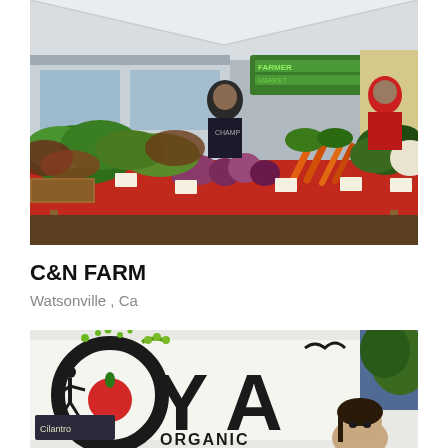[Figure (photo): A farmer's market vegetable stand under a white tent canopy. Two people stand behind a table covered with a red tablecloth, displaying large quantities of fresh vegetables including leafy greens, lettuce, onions, carrots, broccoli, and other produce in crates and bins. Price tags are visible on the table. Green signage is visible in the background.]
C&N FARM
Watsonville , Ca
[Figure (photo): A woman stands in front of a large white banner sign with illustrated artwork showing 'OYA ORGANIC' text with a stylized figure, tomato, and plant design. The banner text includes 'Cilantro' and other produce text. Trees and blue canopy are visible in the background.]